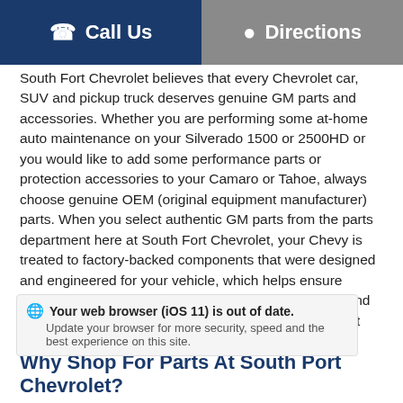Call Us | Directions
South Fort Chevrolet believes that every Chevrolet car, SUV and pickup truck deserves genuine GM parts and accessories. Whether you are performing some at-home auto maintenance on your Silverado 1500 or 2500HD or you would like to add some performance parts or protection accessories to your Camaro or Tahoe, always choose genuine OEM (original equipment manufacturer) parts. When you select authentic GM parts from the parts department here at South Fort Chevrolet, your Chevy is treated to factory-backed components that were designed and engineered for your vehicle, which helps ensure proper fit and function. Explore our parts department and the many reasons to shop here for all of your Chevrolet parts needs!
Your web browser (iOS 11) is out of date. Update your browser for more security, speed and the best experience on this site.
Why Shop For Parts At South Port Chevrolet?